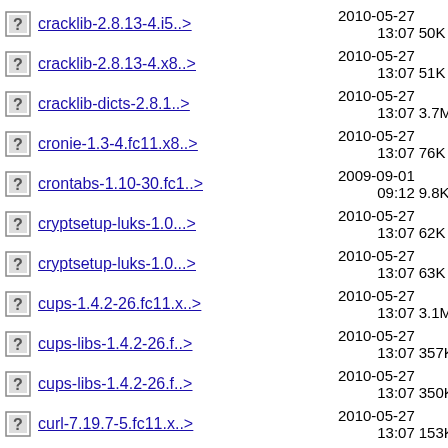cracklib-2.8.13-4.i5..> 2010-05-27 13:07 50K
cracklib-2.8.13-4.x8..> 2010-05-27 13:07 51K
cracklib-dicts-2.8.1..> 2010-05-27 13:07 3.7M
cronie-1.3-4.fc11.x8..> 2010-05-27 13:07 76K
crontabs-1.10-30.fc1..> 2009-09-01 09:12 9.8K
cryptsetup-luks-1.0...> 2010-05-27 13:07 62K
cryptsetup-luks-1.0...> 2010-05-27 13:07 63K
cups-1.4.2-26.fc11.x..> 2010-05-27 13:07 3.1M
cups-libs-1.4.2-26.f..> 2010-05-27 13:07 357K
cups-libs-1.4.2-26.f..> 2010-05-27 13:07 350K
curl-7.19.7-5.fc11.x..> 2010-05-27 13:07 153K